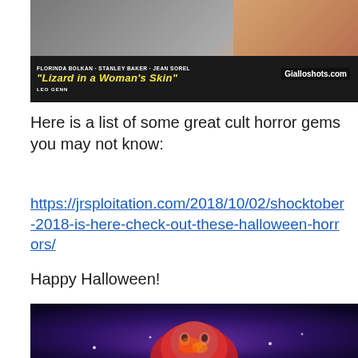[Figure (photo): Movie poster for 'Lizard in a Woman's Skin' featuring Florinda Bolkan, Stanley Baker, Jean Sorel, and Leo Genn. Black and white imagery at top with color section. Gialloshots.com watermark visible.]
Here is a list of some great cult horror gems you may not know:
https://jrsploitation.com/2018/10/02/shocktober-2018-is-here-check-out-these-halloween-horrors/
Happy Halloween!
[Figure (photo): Horror creature or monster illuminated in purple and red light, appearing to be a special effects prop or costume from a horror film.]